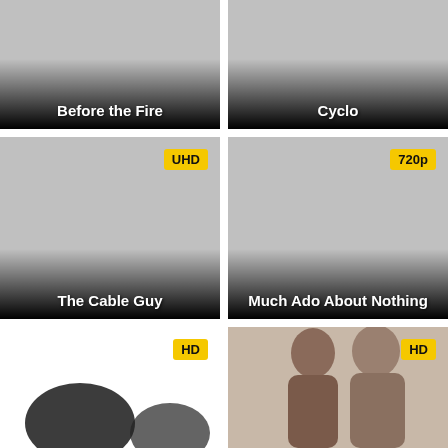[Figure (screenshot): Movie thumbnail for 'Before the Fire' with gray placeholder image and black gradient at bottom]
Before the Fire
[Figure (screenshot): Movie thumbnail for 'Cyclo' with gray placeholder image and black gradient at bottom]
Cyclo
[Figure (screenshot): Movie thumbnail for 'The Cable Guy' with UHD badge and gray placeholder image]
The Cable Guy
[Figure (screenshot): Movie thumbnail for 'Much Ado About Nothing' with 720p badge and gray placeholder image]
Much Ado About Nothing
[Figure (screenshot): Partial movie thumbnail at bottom left with HD badge, white background with partial dark logo]
[Figure (photo): Partial movie thumbnail at bottom right with HD badge, showing two people (man and woman)]